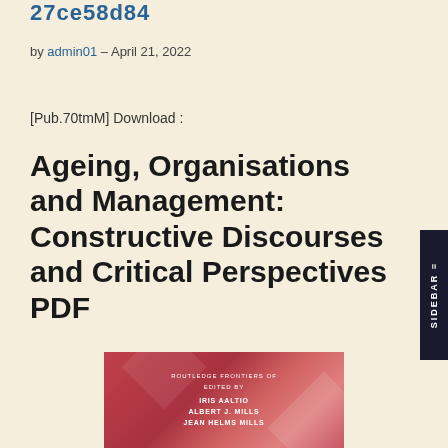27ce58d84
by admin01 - April 21, 2022
[Pub.70tmM] Download :
Ageing, Organisations and Management: Constructive Discourses and Critical Perspectives PDF
[Figure (photo): Book cover of 'Ageing, Organisations and Management: Constructive Discourses and Critical Perspectives', red/pink geometric design, edited by Iris Aaltio, Albert J. Mills, Jean Helms Mills, published by Routledge.]